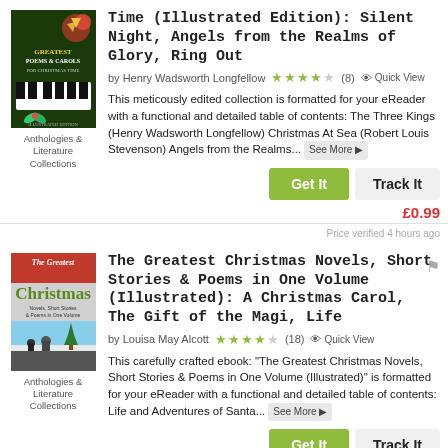[Figure (illustration): Book cover for Christmas poems and carols anthology with dark green background, piano keys, and holly decoration]
Anthologies & Literature Collections
Time (Illustrated Edition): Silent Night, Angels from the Realms of Glory, Ring Out
by Henry Wadsworth Longfellow  ★★★★☆ (8)  Quick View
This meticously edited collection is formatted for your eReader with a functional and detailed table of contents: The Three Kings (Henry Wadsworth Longfellow) Christmas At Sea (Robert Louis Stevenson) Angels from the Realms...
Get It   Track It
£0.99
Price verified 4 hours ago
[Figure (illustration): Book cover for The Greatest Christmas Novels Short Stories & Poems in One Volume with red and green title text and winter scene]
Anthologies & Literature Collections
The Greatest Christmas Novels, Short Stories & Poems in One Volume (Illustrated): A Christmas Carol, The Gift of the Magi, Life
by Louisa May Alcott  ★★★★☆ (18)  Quick View
This carefully crafted ebook: "The Greatest Christmas Novels, Short Stories & Poems in One Volume (Illustrated)" is formatted for your eReader with a functional and detailed table of contents: Life and Adventures of Santa...
Get It   Track It